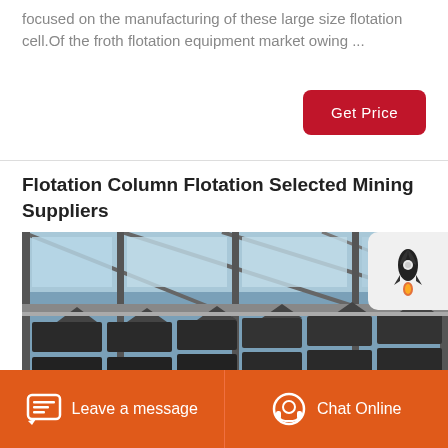focused on the manufacturing of these large size flotation cell.Of the froth flotation equipment market owing ...
Get Price
Flotation Column Flotation Selected Mining Suppliers
[Figure (photo): Industrial flotation cell equipment inside a large factory/mining facility, showing rows of flotation machines under a steel frame roof with large windows.]
Leave a message   Chat Online